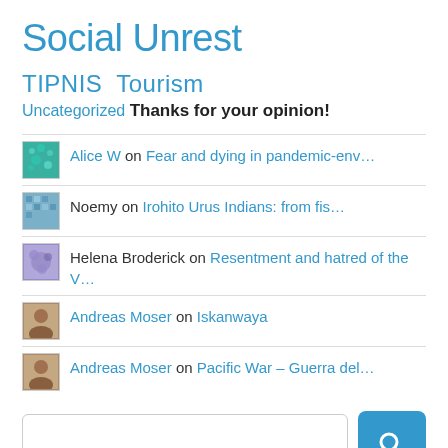Social Unrest TIPNIS Tourism
Uncategorized
Thanks for your opinion!
Alice W on Fear and dying in pandemic-env...
Noemy on Irohito Urus Indians: from fis...
Helena Broderick on Resentment and hatred of the V...
Andreas Moser on Iskanwaya
Andreas Moser on Pacific War – Guerra del...
Email Subscription